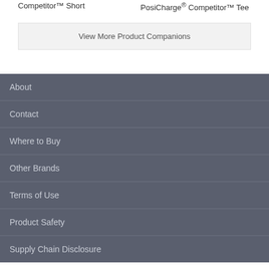Competitor™ Short
PosiCharge® Competitor™ Tee
View More Product Companions
About
Contact
Where to Buy
Other Brands
Terms of Use
Product Safety
Supply Chain Disclosure
Copyright © 2022 Sport-Tek. All rights reserved.